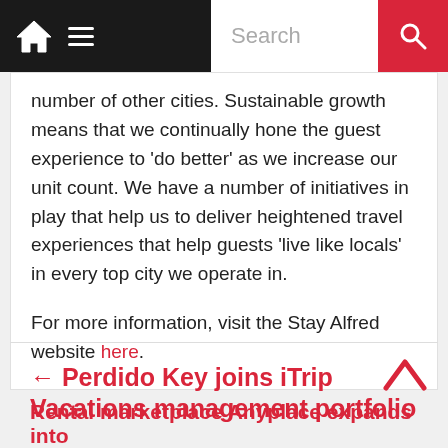Home | Menu | Search
number of other cities. Sustainable growth means that we continually hone the guest experience to ‘do better’ as we increase our unit count. We have a number of initiatives in play that help us to deliver heightened travel experiences that help guests ‘live like locals’ in every top city we operate in.
For more information, visit the Stay Alfred website here.
← Perdido Key joins iTrip Vacations management portfolio
Rental marketplace Anyplace expands into